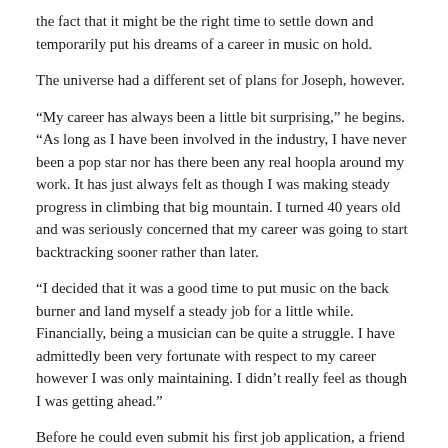the fact that it might be the right time to settle down and temporarily put his dreams of a career in music on hold.
The universe had a different set of plans for Joseph, however.
“My career has always been a little bit surprising,” he begins. “As long as I have been involved in the industry, I have never been a pop star nor has there been any real hoopla around my work. It has just always felt as though I was making steady progress in climbing that big mountain. I turned 40 years old and was seriously concerned that my career was going to start backtracking sooner rather than later.
“I decided that it was a good time to put music on the back burner and land myself a steady job for a little while. Financially, being a musician can be quite a struggle. I have admittedly been very fortunate with respect to my career however I was only maintaining. I didn’t really feel as though I was getting ahead.”
Before he could even submit his first job application, a friend of Joseph’s recommended that he send in some material to a new independent label that was just getting on its feet. Three days after submitting his music, the label reached out to him to gauge his interest at making a record.
“Initially, they were considering releasing an anthology of my music that would include material from my four solo records as well as some material from Zero° Celsius,” he says. “They asked for a couple of new songs to include on the collection. When I sent them 25 songs to pick from, their focus shifted from the record being a